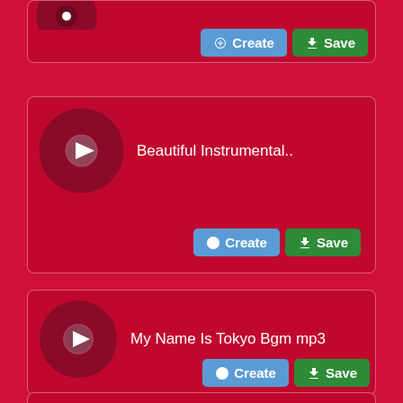[Figure (screenshot): Mobile app UI showing a list of music ringtone cards on a red background. Each card has a vinyl disc with play button, a track title, and Create/Save buttons.]
Beautiful Instrumental..
My Name Is Tokyo Bgm mp3
Beparwai Sad Music Ringtone..